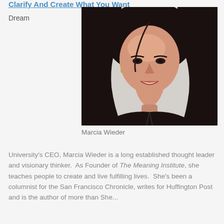Clarify And Create What You Want
Dream
[Figure (photo): Portrait photo of Marcia Wieder, a woman with long dark hair, smiling, against a light grey background]
Marcia Wieder
University's CEO, Marcia Wieder is a long established thought leader and visionary thinker.  As Founder of The Meaning Institute, she teaches people to create and live fulfilling lives.  She's been a columnist for the San Francisco Chronicle, writes for Huffington Post and is the author of more than She...